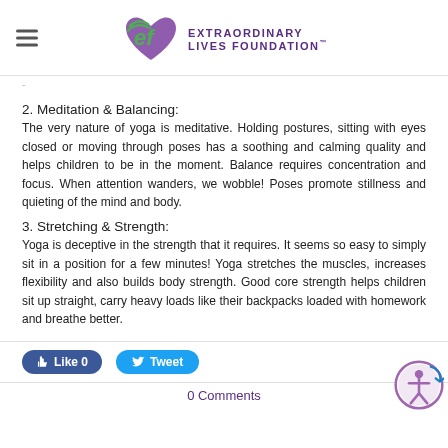Extraordinary Lives Foundation
2. Meditation & Balancing:
The very nature of yoga is meditative. Holding postures, sitting with eyes closed or moving through poses has a soothing and calming quality and helps children to be in the moment. Balance requires concentration and focus. When attention wanders, we wobble! Poses promote stillness and quieting of the mind and body.
3. Stretching & Strength:
Yoga is deceptive in the strength that it requires. It seems so easy to simply sit in a position for a few minutes! Yoga stretches the muscles, increases flexibility and also builds body strength. Good core strength helps children sit up straight, carry heavy loads like their backpacks loaded with homework and breathe better.
Like 0   Tweet
0 Comments